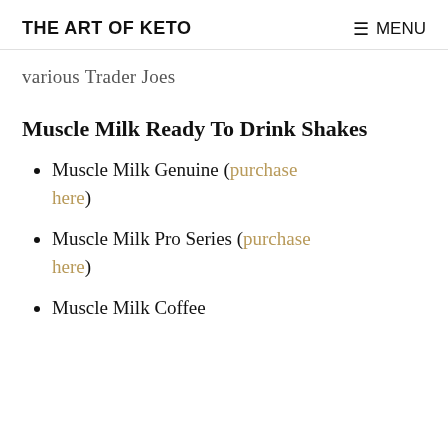THE ART OF KETO  ☰ MENU
various Trader Joes
Muscle Milk Ready To Drink Shakes
Muscle Milk Genuine (purchase here)
Muscle Milk Pro Series (purchase here)
Muscle Milk Coffee